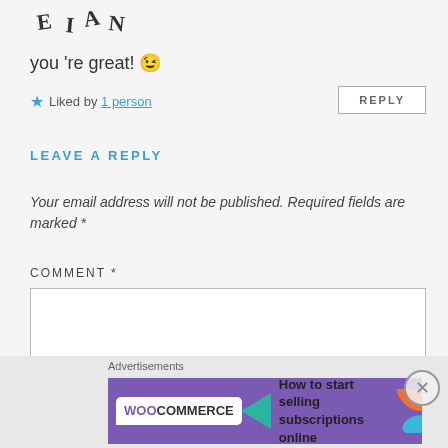[Figure (logo): Stylized rotated logo text 'E I A N' or similar]
you 're great! 😉
★ Liked by 1 person
REPLY
LEAVE A REPLY
Your email address will not be published. Required fields are marked *
COMMENT *
[Figure (screenshot): Empty comment text area box]
Advertisements
[Figure (illustration): WooCommerce ad banner: 'How to start selling subscriptions online']